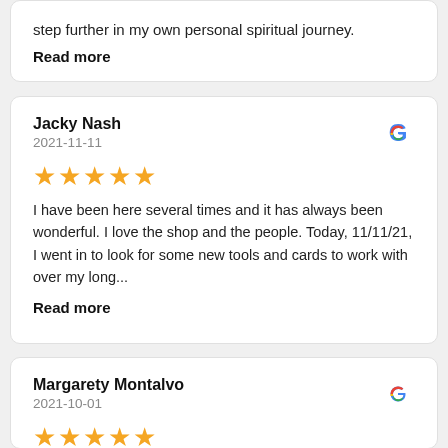step further in my own personal spiritual journey.
Read more
Jacky Nash
2021-11-11
★★★★★
I have been here several times and it has always been wonderful. I love the shop and the people. Today, 11/11/21, I went in to look for some new tools and cards to work with over my long...
Read more
Margarety Montalvo
2021-10-01
★★★★★
I had a wonderful Chakra healing session with Will. He is amazing. Thank God for people with